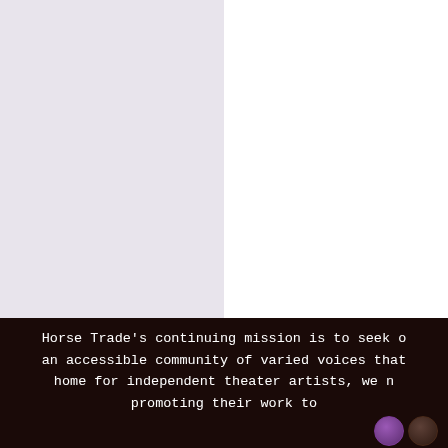[Figure (other): Left half lavender/light purple background panel, right half white background panel, forming a two-tone background layout]
Horse Trade's continuing mission is to seek o an accessible community of varied voices that home for independent theater artists, we n promoting their work to
[Figure (other): Two small circular icon images at the bottom right corner]